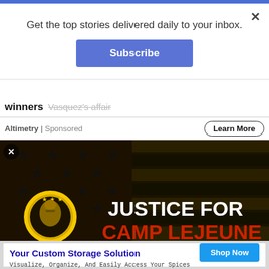Get the top stories delivered daily to your inbox.
Subscribe
winners  Vasquez's affair
Altimetry | Sponsored
Learn More
[Figure (photo): Dark background with American flag stars pattern and 'JUSTICE FOR CAMP LEJEUNE' text, with a yellow circular military logo on the left]
Your Custom Storage Solution
Visualize, Organize, And Easily Access Your Spices With Our Patented Spice Rack Design.
Vertical Spice
Shop Now